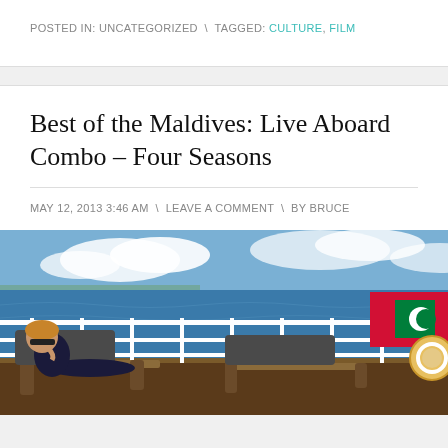POSTED IN: UNCATEGORIZED \ TAGGED: CULTURE, FILM
Best of the Maldives: Live Aboard Combo – Four Seasons
MAY 12, 2013 3:46 AM \ LEAVE A COMMENT \ BY BRUCE
[Figure (photo): A person reclining on a deck chair on a ship's deck, with ocean in the background and the Maldivian flag visible. The ship has white railings and a life preserver ring.]